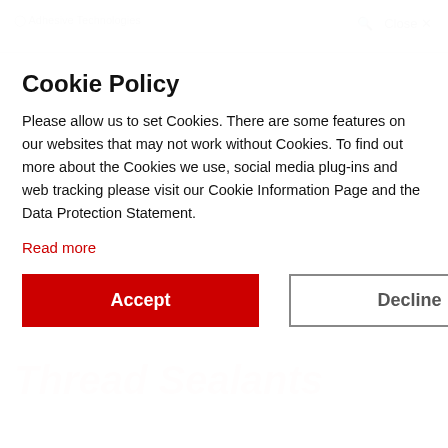Henkel Adhesive Technologies — Close ×
Cookie Policy
Please allow us to set Cookies. There are some features on our websites that may not work without Cookies. To find out more about the Cookies we use, social media plug-ins and web tracking please visit our Cookie Information Page and the Data Protection Statement.
Read more
Accept
Decline
Thread Sealants
... seals on fittings, pipes and joints
Leaks from pipes and  fluid fittings can bring work processes to a standstill. LOCTITE® thread sealants are the preferred solution for many different applications across industries to secure pipes, hydraulic systems, and other connections from fluid leaks.